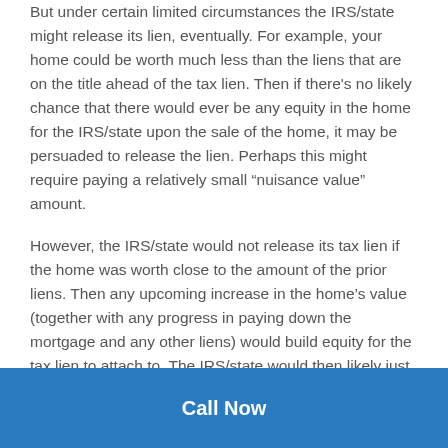But under certain limited circumstances the IRS/state might release its lien, eventually. For example, your home could be worth much less than the liens that are on the title ahead of the tax lien. Then if there's no likely chance that there would ever be any equity in the home for the IRS/state upon the sale of the home, it may be persuaded to release the lien. Perhaps this might require paying a relatively small “nuisance value” amount.
However, the IRS/state would not release its tax lien if the home was worth close to the amount of the prior liens. Then any upcoming increase in the home’s value (together with any progress in paying down the mortgage and any other liens) would build equity for the tax lien to attach to. The IRS/state would then likely just wait until you sell or refinance the home. It would then release its lien only when it’s paid in full (including all the interest and penalties that’s accrued in the meantime).
Call Now